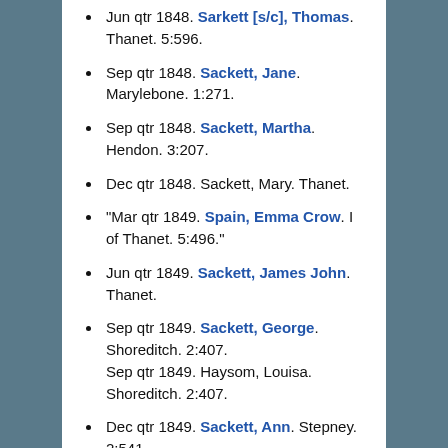Jun qtr 1848. Sarkett [s/c], Thomas. Thanet. 5:596.
Sep qtr 1848. Sackett, Jane. Marylebone. 1:271.
Sep qtr 1848. Sackett, Martha. Hendon. 3:207.
Dec qtr 1848. Sackett, Mary. Thanet.
"Mar qtr 1849. Spain, Emma Crow. I of Thanet. 5:496."
Jun qtr 1849. Sackett, James John. Thanet.
Sep qtr 1849. Sackett, George. Shoreditch. 2:407. Sep qtr 1849. Haysom, Louisa. Shoreditch. 2:407.
Dec qtr 1849. Sackett, Ann. Stepney. 2:541.
Mar qtr 1850. Haddock, Mary. Colchester. 12:73.
Mar qtr 1851. Sackett, Millicent. Marylebone. 1:254.
Mar qtr 1851. Pay, Charlotte H. I of Thanet. 5:517.
Jun qtr 1851. Swinford, Ann. Thanet I. 5:607.
Sep qtr 1851. Sackett, George. Thanet.